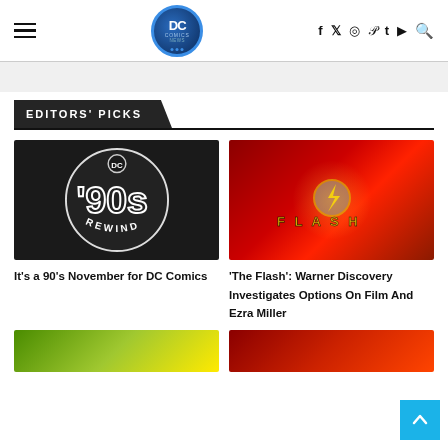DC Comics News — navigation header with hamburger menu, DC Comics News logo, social icons (f, twitter, instagram, pinterest, t, youtube, search)
EDITORS' PICKS
[Figure (photo): DC Comics '90s Rewind circular logo in dark background — black circle with white '90s lettering and REWIND text]
It's a 90's November for DC Comics
[Figure (photo): The Flash movie title card on red dramatic background with lightning bolt logo]
'The Flash': Warner Discovery Investigates Options On Film And Ezra Miller
[Figure (photo): Bottom left partial image — green/yellow tones]
[Figure (photo): Bottom right partial image — red tones]